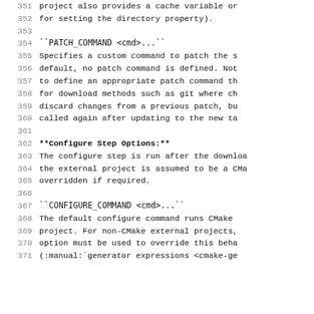351    project also provides a cache variable or
352    for setting the directory property).
353
354    ``PATCH_COMMAND <cmd>...``
355    Specifies a custom command to patch the s
356    default, no patch command is defined. Not
357    to define an appropriate patch command th
358    for download methods such as git where ch
359    discard changes from a previous patch, bu
360    called again after updating to the new ta
361
362  **Configure Step Options:**
363    The configure step is run after the downloa
364    the external project is assumed to be a CMa
365    overridden if required.
366
367    ``CONFIGURE_COMMAND <cmd>...``
368    The default configure command runs CMake
369    project. For non-CMake external projects,
370    option must be used to override this beha
371    (:manual:`generator expressions <cmake-ge